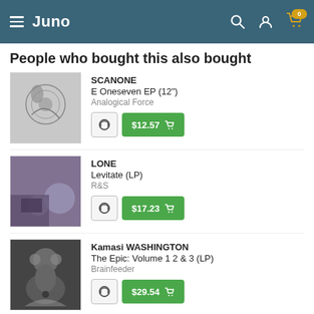Juno
People who bought this also bought
SCANONE
E Oneseven EP (12")
Analogical Force
$12.57
LONE
Levitate (LP)
R&S
$17.23
Kamasi WASHINGTON
The Epic: Volume 1 2 & 3 (LP)
Brainfeeder
$29.54
HNNY
Sunday (LP)
Omena
$19.95